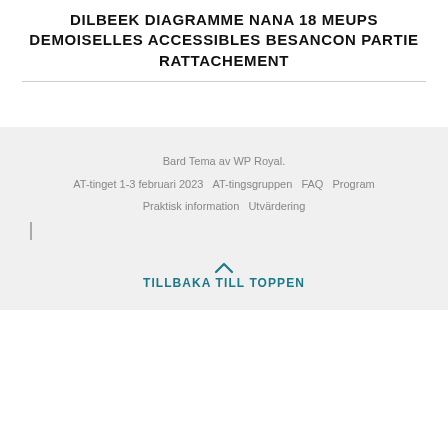DILBEEK DIAGRAMME NANA 18 MEUPS DEMOISELLES ACCESSIBLES BESANCON PARTIE RATTACHEMENT
Bard Tema av WP Royal.
AT-tinget 1-3 februari 2023  AT-tingsgruppen  FAQ  Program
Praktisk information  Utvärdering
TILLBAKA TILL TOPPEN